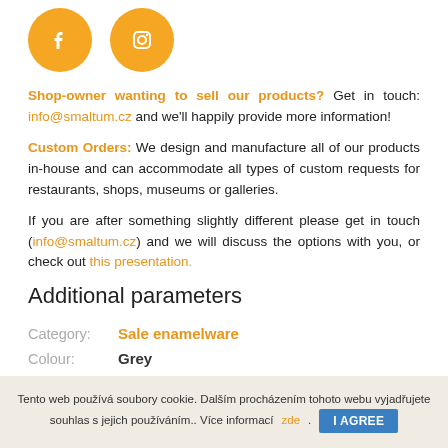[Figure (illustration): Two golden circular social media icons: Facebook (f) and Instagram (camera) on white background]
Shop-owner wanting to sell our products? Get in touch: info@smaltum.cz and we'll happily provide more information!
Custom Orders: We design and manufacture all of our products in-house and can accommodate all types of custom requests for restaurants, shops, museums or galleries.
If you are after something slightly different please get in touch (info@smaltum.cz) and we will discuss the options with you, or check out this presentation.
Additional parameters
|  |  |
| --- | --- |
| Category: | Sale enamelware |
| Colour: | Grey |
| Size: | 350ml/8cm diameter |
Tento web používá soubory cookie. Dalším procházením tohoto webu vyjadřujete souhlas s jejich používáním.. Více informací zde. I AGREE